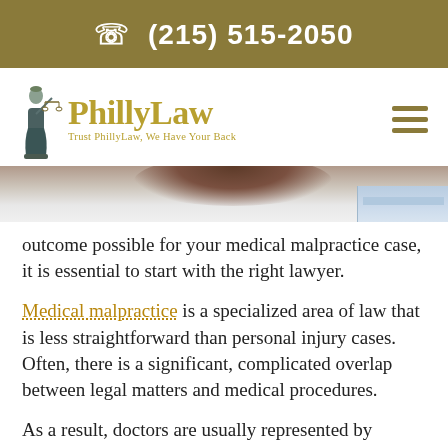☎ (215) 515-2050
[Figure (logo): PhillyLaw logo with Lady Justice figure and golden text reading 'PhillyLaw' with tagline 'Trust PhillyLaw, We Have Your Back']
[Figure (photo): Partial view of legal/courtroom items including scales of justice and documents]
outcome possible for your medical malpractice case, it is essential to start with the right lawyer.
Medical malpractice is a specialized area of law that is less straightforward than personal injury cases. Often, there is a significant, complicated overlap between legal matters and medical procedures.
As a result, doctors are usually represented by aggressive